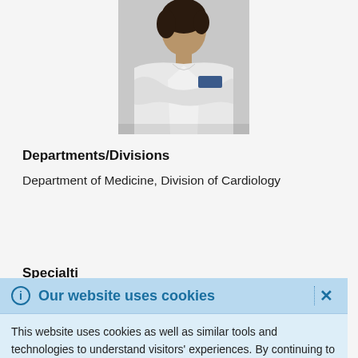[Figure (photo): Professional headshot of a female doctor in a white coat with arms crossed]
Departments/Divisions
Department of Medicine, Division of Cardiology
Specialti…
Our website uses cookies
This website uses cookies as well as similar tools and technologies to understand visitors' experiences. By continuing to use this website, you consent to Columbia University's usage of cookies and similar technologies, in accordance with the Columbia University Website Cookie Notice.